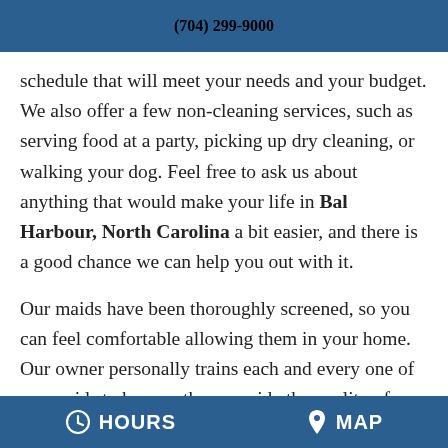(704) 299-9000
schedule that will meet your needs and your budget. We also offer a few non-cleaning services, such as serving food at a party, picking up dry cleaning, or walking your dog. Feel free to ask us about anything that would make your life in Bal Harbour, North Carolina a bit easier, and there is a good chance we can help you out with it.
Our maids have been thoroughly screened, so you can feel comfortable allowing them in your home. Our owner personally trains each and every one of our maids to be sure they provide the quality of work that we are well known for. It is our integrity and willingness to go above and beyond that has
HOURS   MAP